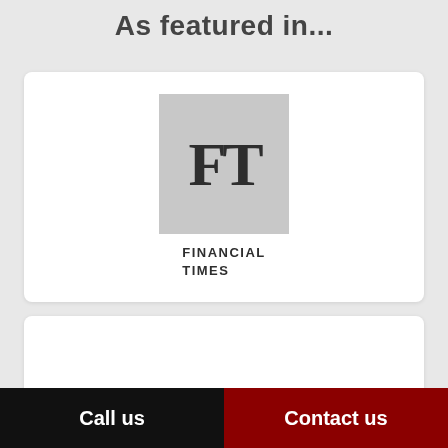As featured in...
[Figure (logo): Financial Times logo: grey square with large 'FT' letters in dark serif font, below which text reads 'FINANCIAL TIMES' in bold caps]
[Figure (logo): The Telegraph logo in blackletter/gothic serif font, partially visible at top of second card]
Call us
Contact us